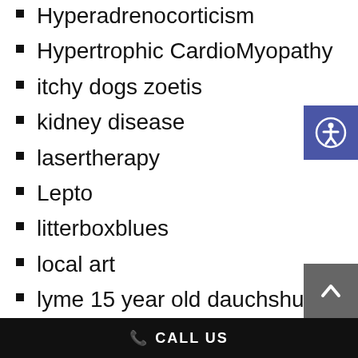Hyperadrenocorticism
Hypertrophic CardioMyopathy
itchy dogs zoetis
kidney disease
lasertherapy
Lepto
litterboxblues
local art
lyme 15 year old dauchshund
lyme disease
lymphoma
michael vick
microchip
microchip lost dog walks into vets office
CALL US